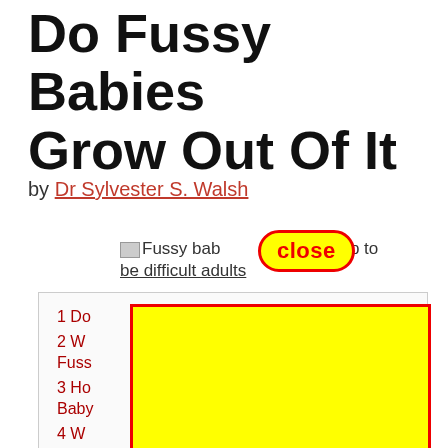Do Fussy Babies Grow Out Of It
by Dr Sylvester S. Walsh
[Figure (screenshot): Screenshot of a web article about fussy babies with a close button overlay (yellow badge with red border saying 'close') and a yellow rectangle covering part of the table of contents]
1 Do...
2 W... Fuss...
3 Ho... Baby...
4 W... The...
5 Do Babies Go Through A Fussy Period In